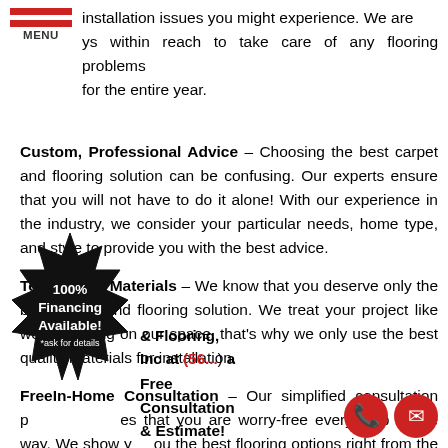[Figure (illustration): Red and white hamburger menu icon with MENU text label]
installation issues you might experience. We are always within reach to take care of any flooring problems for the entire year.
Custom, Professional Advice – Choosing the best carpet and flooring solution can be confusing. Our experts ensure that you will not have to do it alone! With our experience in the industry, we consider your particular needs, home type, and style to provide you with the best advice.
Top-Quality Materials – We know that you deserve only the best carpet and flooring solution. We treat your project like we're working on our space, that's why we only use the best quality materials for installation.
Free In-Home Consultation – Our simplified consultation process ensures that you are worry-free every step of the way. We show you the best flooring options right from the comfort of your home.
[Figure (illustration): Black starburst badge with text: 100% Financing Available! *ask for details]
Call Carpet & Flooring, Inc at (56...) for a Free Consultation & Estimate!
[Figure (illustration): Red circular phone icon and red circular email/envelope icon]